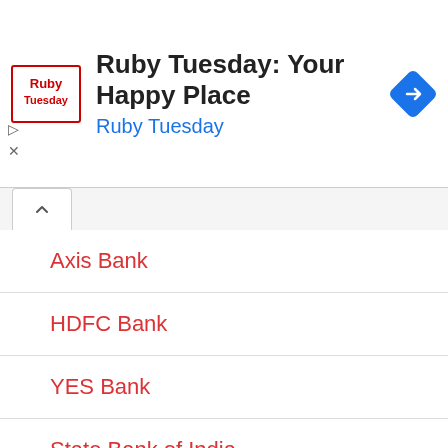[Figure (screenshot): Ruby Tuesday advertisement banner with logo, title 'Ruby Tuesday: Your Happy Place', subtitle 'Ruby Tuesday', and a blue navigation icon.]
Axis Bank
HDFC Bank
YES Bank
State Bank of India
UCO Bank
Kotak Mahindra Bank
Central Bank of India